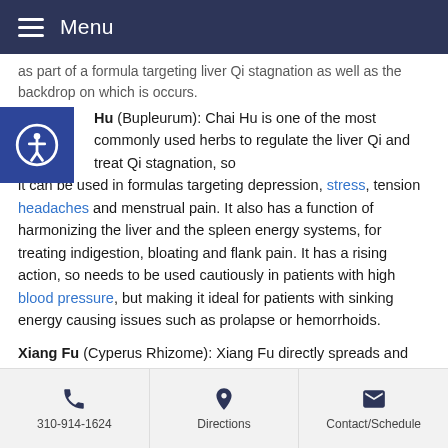Menu
as part of a formula targeting liver Qi stagnation as well as the backdrop on which is occurs.
Chai Hu (Bupleurum): Chai Hu is one of the most commonly used herbs to regulate the liver Qi and treat Qi stagnation, so it can be used in formulas targeting depression, stress, tension headaches and menstrual pain. It also has a function of harmonizing the liver and the spleen energy systems, for treating indigestion, bloating and flank pain. It has a rising action, so needs to be used cautiously in patients with high blood pressure, but making it ideal for patients with sinking energy causing issues such as prolapse or hemorrhoids.
Xiang Fu (Cyperus Rhizome): Xiang Fu directly spreads and regulates liver Qi, for treating symptoms such as hypochondriac pain, menstrual pain, irregular periods
310-914-1624  Directions  Contact/Schedule